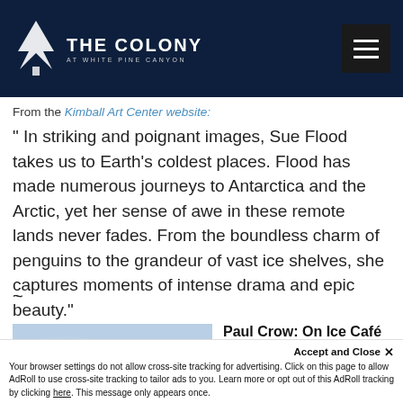[Figure (logo): The Colony at White Pine Canyon logo with pine tree icon and text on dark navy background, with hamburger menu button on the right]
From the Kimball Art Center website:
" In striking and poignant images, Sue Flood takes us to Earth's coldest places. Flood has made numerous journeys to Antarctica and the Arctic, yet her sense of awe in these remote lands never fades. From the boundless charm of penguins to the grandeur of vast ice shelves, she captures moments of intense drama and epic beauty."
~
[Figure (photo): Light blue icy texture photo thumbnail]
Paul Crow: On Ice Café Gallery @ Kimball Art Center
Through
Your browser settings do not allow cross-site tracking for advertising. Click on this page to allow AdRoll to use cross-site tracking to tailor ads to you. Learn more or opt out of this AdRoll tracking by clicking here. This message only appears once.